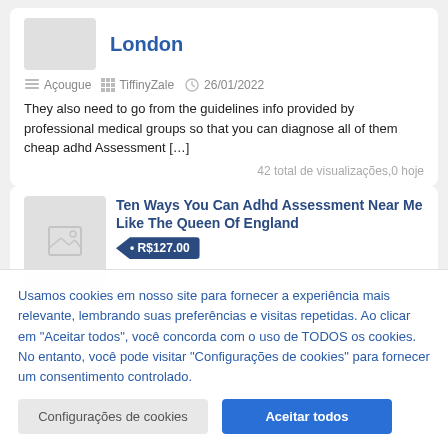London
Açougue   TiffinyZale   26/01/2022
They also need to go from the guidelines info provided by professional medical groups so that you can diagnose all of them cheap adhd Assessment […]
42 total de visualizações,0 hoje
Ten Ways You Can Adhd Assessment Near Me Like The Queen Of England
• R$127.00
Usamos cookies em nosso site para fornecer a experiência mais relevante, lembrando suas preferências e visitas repetidas. Ao clicar em "Aceitar todos", você concorda com o uso de TODOS os cookies. No entanto, você pode visitar "Configurações de cookies" para fornecer um consentimento controlado.
Configurações de cookies
Aceitar todos